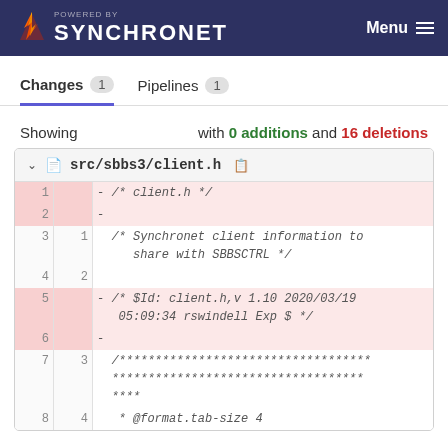POWERED BY SYNCHRONET  Menu
Changes 1   Pipelines 1
Showing with 0 additions and 16 deletions
src/sbbs3/client.h
| old | new | code |
| --- | --- | --- |
| 1 |  | - /* client.h */ |
| 2 |  | - |
| 3 | 1 | /* Synchronet client information to share with SBBSCTRL */ |
| 4 | 2 |  |
| 5 |  | - /* $Id: client.h,v 1.10 2020/03/19 05:09:34 rswindell Exp $ */ |
| 6 |  | - |
| 7 | 3 | /******************************************* |
| 8 | 4 |  * @format.tab-size 4 |